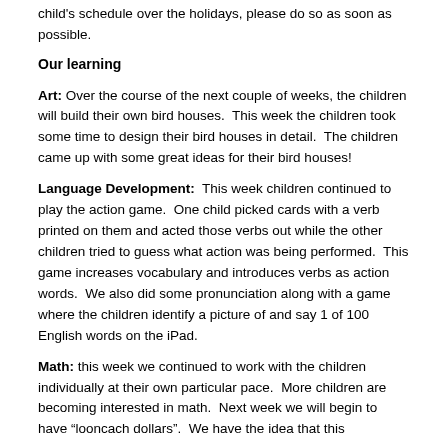child's schedule over the holidays, please do so as soon as possible.
Our learning
Art: Over the course of the next couple of weeks, the children will build their own bird houses.  This week the children took some time to design their bird houses in detail.  The children came up with some great ideas for their bird houses!
Language Development:  This week children continued to play the action game.  One child picked cards with a verb printed on them and acted those verbs out while the other children tried to guess what action was being performed.  This game increases vocabulary and introduces verbs as action words.  We also did some pronunciation along with a game where the children identify a picture of and say 1 of 100 English words on the iPad.
Math: this week we continued to work with the children individually at their own particular pace.  More children are becoming interested in math.  Next week we will begin to have "looncach dollars".  We have the idea that this